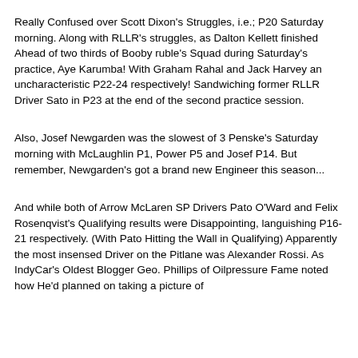Really Confused over Scott Dixon's Struggles, i.e.; P20 Saturday morning. Along with RLLR's struggles, as Dalton Kellett finished Ahead of two thirds of Booby ruble's Squad during Saturday's practice, Aye Karumba! With Graham Rahal and Jack Harvey an uncharacteristic P22-24 respectively! Sandwiching former RLLR Driver Sato in P23 at the end of the second practice session.
Also, Josef Newgarden was the slowest of 3 Penske's Saturday morning with McLaughlin P1, Power P5 and Josef P14. But remember, Newgarden's got a brand new Engineer this season...
And while both of Arrow McLaren SP Drivers Pato O'Ward and Felix Rosenqvist's Qualifying results were Disappointing, languishing P16-21 respectively. (With Pato Hitting the Wall in Qualifying) Apparently the most insensed Driver on the Pitlane was Alexander Rossi. As IndyCar's Oldest Blogger Geo. Phillips of Oilpressure Fame noted how He'd planned on taking a picture of...